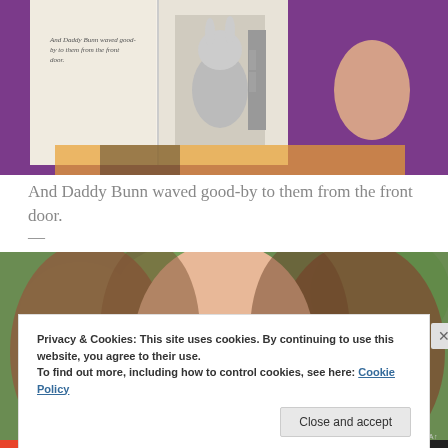[Figure (photo): A child holding up an open book to their face. The left page shows text 'And Daddy Bunn waved good-by to them from the front door.' and the right page shows an illustration of a rabbit character in clothing standing by a door.]
And Daddy Bunn waved good-by to them from the front door.
—
[Figure (photo): Close-up portrait of a young girl with long brown hair, face partially visible, wearing a pink top, outdoors with green bokeh background.]
Privacy & Cookies: This site uses cookies. By continuing to use this website, you agree to their use.
To find out more, including how to control cookies, see here: Cookie Policy
Close and accept